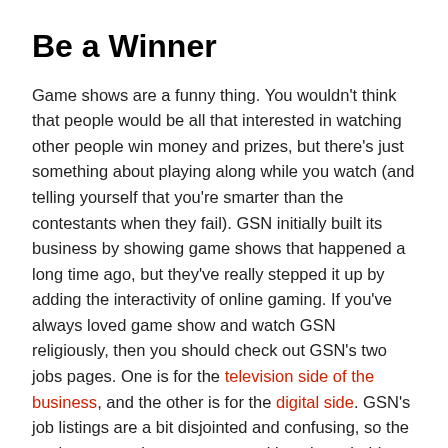Be a Winner
Game shows are a funny thing. You wouldn't think that people would be all that interested in watching other people win money and prizes, but there's just something about playing along while you watch (and telling yourself that you're smarter than the contestants when they fail). GSN initially built its business by showing game shows that happened a long time ago, but they've really stepped it up by adding the interactivity of online gaming. If you've always loved game show and watch GSN religiously, then you should check out GSN's two jobs pages. One is for the television side of the business, and the other is for the digital side. GSN's job listings are a bit disjointed and confusing, so the easiest way to browse open positions is probably to use the listings on the lefthand sidebar.
Links to Help You Begin Your Research